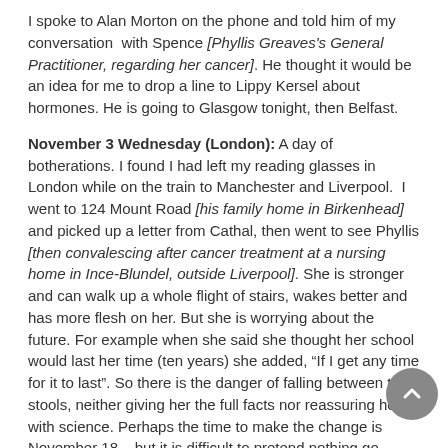I spoke to Alan Morton on the phone and told him of my conversation with Spence [Phyllis Greaves's General Practitioner, regarding her cancer]. He thought it would be an idea for me to drop a line to Lippy Kersel about hormones. He is going to Glasgow tonight, then Belfast.
November 3 Wednesday (London): A day of botherations. I found I had left my reading glasses in London while on the train to Manchester and Liverpool. I went to 124 Mount Road [his family home in Birkenhead] and picked up a letter from Cathal, then went to see Phyllis [then convalescing after cancer treatment at a nursing home in Ince-Blundel, outside Liverpool]. She is stronger and can walk up a whole flight of stairs, wakes better and has more flesh on her. But she is worrying about the future. For example when she said she thought her school would last her time (ten years) she added, “If I get any time for it to last”. So there is the danger of falling between two stools, neither giving her the full facts nor reassuring her with science. Perhaps the time to make the change is November 18 – but it is difficult to pretend nothing go wrong when I have in mind raising the question of further